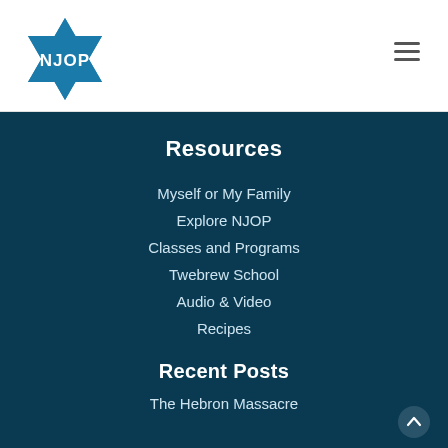[Figure (logo): NJOP logo: blue Star of David with NJOP text in white]
Resources
Myself or My Family
Explore NJOP
Classes and Programs
Twebrew School
Audio & Video
Recipes
Recent Posts
The Hebron Massacre